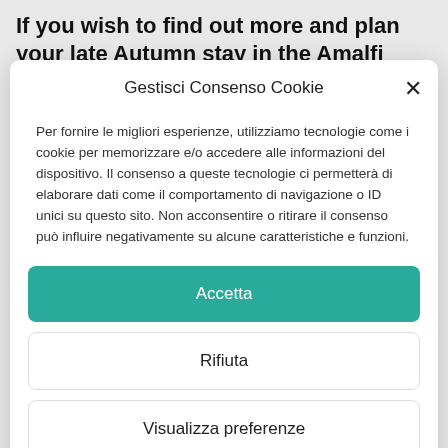If you wish to find out more and plan your late Autumn stay in the Amalfi Coast, including a visit
Gestisci Consenso Cookie
Per fornire le migliori esperienze, utilizziamo tecnologie come i cookie per memorizzare e/o accedere alle informazioni del dispositivo. Il consenso a queste tecnologie ci permetterà di elaborare dati come il comportamento di navigazione o ID unici su questo sito. Non acconsentire o ritirare il consenso può influire negativamente su alcune caratteristiche e funzioni.
Accetta
Rifiuta
Visualizza preferenze
Cookie Policy   Privacy, Cookie Policy & Newsletter Privacy   Imprint